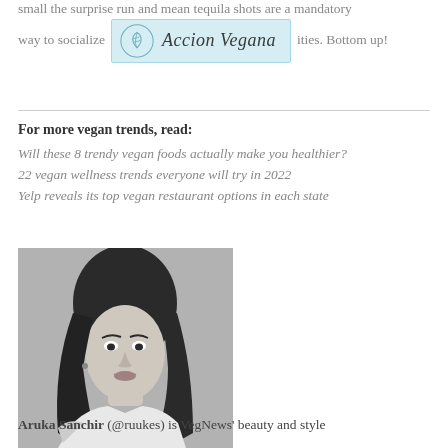small the surprise run and mean tequila shots are a mandatory way to socialize [emoji] ities. Bottom up!
[Figure (logo): Accion Vegana logo with leaf icon on light blue background]
For more vegan trends, read:
Will these 8 trendy vegan foods actually make you healthier?
22 vegan wellness trends everyone will try in 2022
Yelp reveals its top vegan restaurant options in each state
[Figure (photo): Black and white headshot photo of Aruka Sanchir, a woman with long dark wavy hair wearing a white shirt, smiling]
Aruka Sanchir (@ruukes) is VegNews' beauty and style